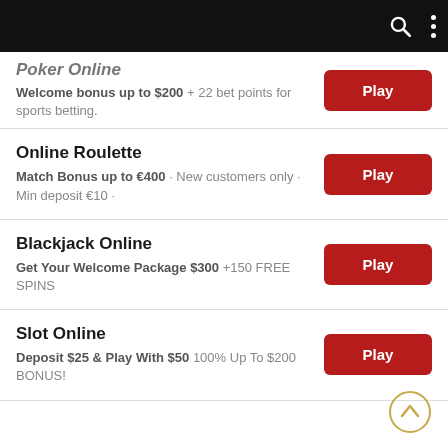Poker Online — Welcome bonus up to $200 + 22 bet points for sports betting.
Online Roulette
Match Bonus up to €400 · New customers only · Min deposit €10 ·
Blackjack Online
Get Your Welcome Package $300 +150 FREE SPINS
Slot Online
Deposit $25 & Play With $50 100% Up To $200 BONUS!